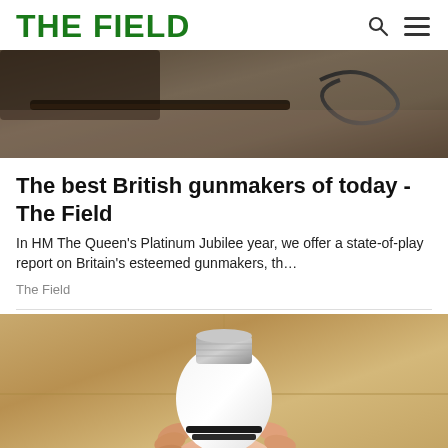THE FIELD
[Figure (photo): Partial view of a gun on a carpet/floor background, dark tones with a gun stock and cable visible]
The best British gunmakers of today - The Field
In HM The Queen's Platinum Jubilee year, we offer a state-of-play report on Britain's esteemed gunmakers, th…
The Field
[Figure (photo): A hand holding a white smart light bulb against a beige/cardboard box background]